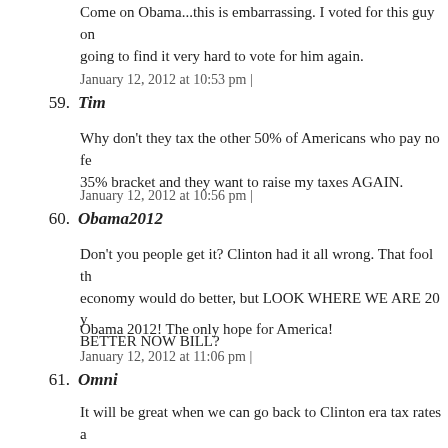Come on Obama...this is embarrassing. I voted for this guy on going to find it very hard to vote for him again.
January 12, 2012 at 10:53 pm |
59. Tim
Why don't they tax the other 50% of Americans who pay no fe 35% bracket and they want to raise my taxes AGAIN.
January 12, 2012 at 10:56 pm |
60. Obama2012
Don't you people get it? Clinton had it all wrong. That fool the economy would do better, but LOOK WHERE WE ARE 20 y BETTER NOW BILL?
Obama 2012! The only hope for America!
January 12, 2012 at 11:06 pm |
61. Omni
It will be great when we can go back to Clinton era tax rates a need to get rid of that TeaTrash in Congress.
January 12, 2012 at 11:33 pm |
62. incamposi